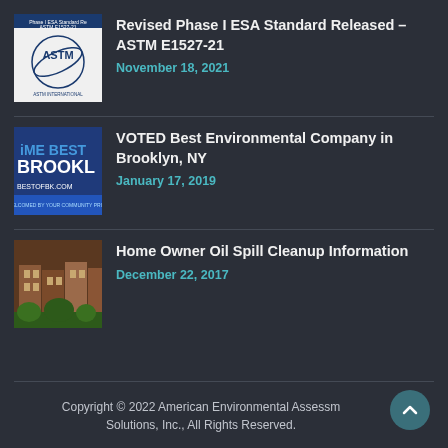Revised Phase I ESA Standard Released – ASTM E1527-21
November 18, 2021
VOTED Best Environmental Company in Brooklyn, NY
January 17, 2019
Home Owner Oil Spill Cleanup Information
December 22, 2017
Copyright © 2022 American Environmental Assessment Solutions, Inc., All Rights Reserved.